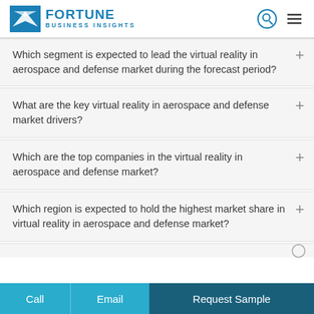FORTUNE BUSINESS INSIGHTS
Which segment is expected to lead the virtual reality in aerospace and defense market during the forecast period?
What are the key virtual reality in aerospace and defense market drivers?
Which are the top companies in the virtual reality in aerospace and defense market?
Which region is expected to hold the highest market share in virtual reality in aerospace and defense market?
Call | Email | Request Sample